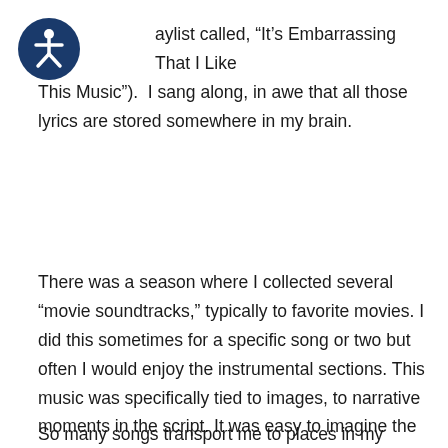[Figure (logo): Accessibility icon — circular dark blue badge with white wheelchair/person symbol]
aylist called, “It’s Embarrassing That I Like This Music”).  I sang along, in awe that all those lyrics are stored somewhere in my brain.
There was a season where I collected several “movie soundtracks,” typically to favorite movies. I did this sometimes for a specific song or two but often I would enjoy the instrumental sections. This music was specifically tied to images, to narrative moments in the script. It was easy to imagine the scenes being played out on the big screen.
So many songs transport me to places in my